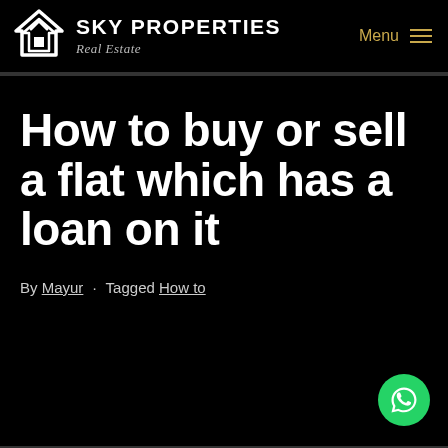[Figure (logo): Sky Properties Real Estate logo — house/chevron icon in white on black, with brand name SKY PROPERTIES in bold white and Real Estate in italic below]
SKY PROPERTIES Real Estate | Menu
How to buy or sell a flat which has a loan on it
By Mayur · Tagged How to